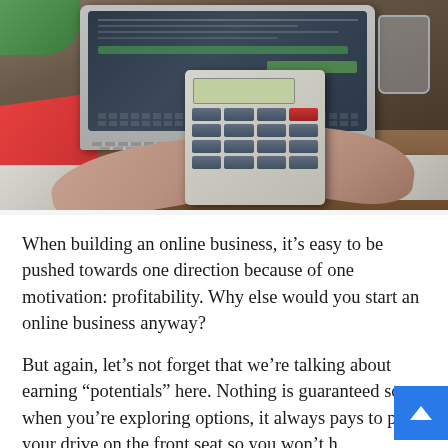[Figure (photo): Person using a calculator on a desk with a laptop, glass of water, red notebook, and computer mouse. The scene is a typical office/home-office setting.]
When building an online business, it's easy to be pushed towards one direction because of one motivation: profitability. Why else would you start an online business anyway?
But again, let's not forget that we're talking about earning “potentials” here. Nothing is guaranteed so when you're exploring options, it always pays to put your drive on the front seat so you won't have regrets even when push comes to shove.